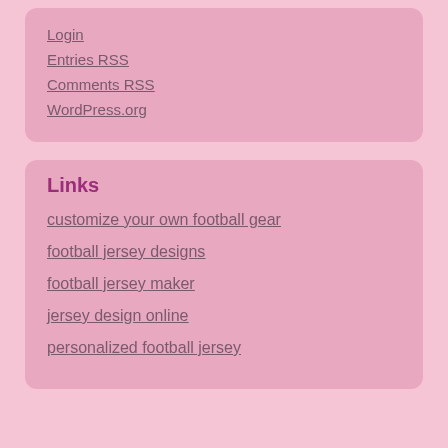Login
Entries RSS
Comments RSS
WordPress.org
Links
customize your own football gear
football jersey designs
football jersey maker
jersey design online
personalized football jersey